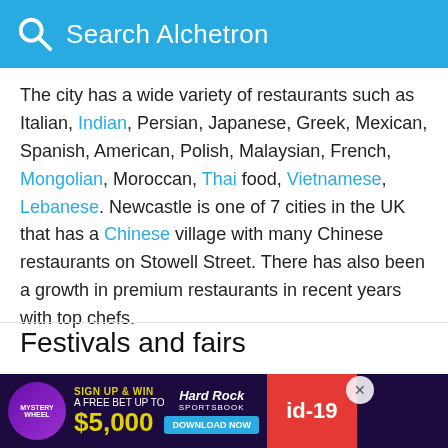Search Alchetron
The city has a wide variety of restaurants such as Italian, Indian, Persian, Japanese, Greek, Mexican, Spanish, American, Polish, Malaysian, French, Mongolian, Moroccan, Thai food, Vietnamese, Lebanese. Newcastle is one of 7 cities in the UK that has a Chinese village with many Chinese restaurants on Stowell Street. There has also been a growth in premium restaurants in recent years with top chefs.
Festivals and fairs
[Figure (photo): Bridge over river (Tyne Bridge, Newcastle) with advertisement banner overlay for Mystery Wheel / Hard Rock Sportsbook sign up promotion offering a free bet up to $5,000]